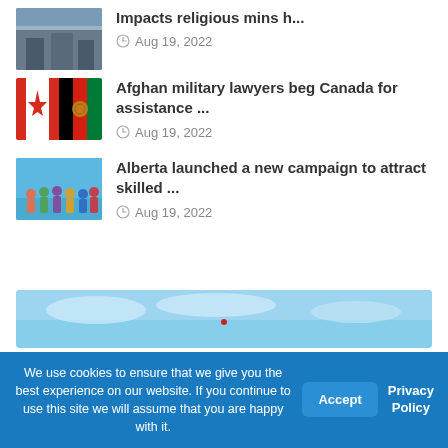[Figure (photo): Partial news item with building/institution photo, title truncated: 'Impacts religious mins h...']
Aug 19, 2022
[Figure (photo): Canadian and Afghan flags side by side]
Afghan military lawyers beg Canada for assistance ...
Aug 19, 2022
[Figure (photo): Group of diverse cartoon/illustrated people on blue sky background]
Alberta launched a new campaign to attract skilled ...
Aug 19, 2022
[Figure (photo): Partial blue sky image at bottom of page]
We use cookies to ensure that we give you the best experience on our website. If you continue to use this site we will assume that you are happy with it.
Accept
Privacy Policy